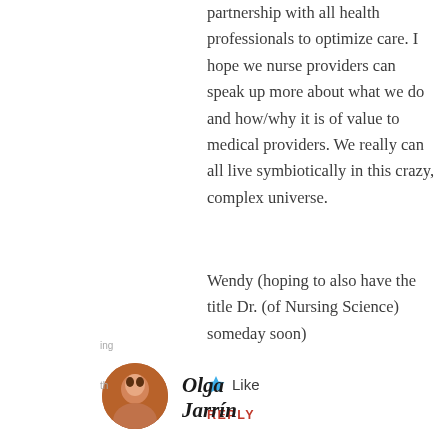partnership with all health professionals to optimize care. I hope we nurse providers can speak up more about what we do and how/why it is of value to medical providers. We really can all live symbiotically in this crazy, complex universe.
Wendy (hoping to also have the title Dr. (of Nursing Science) someday soon)
Like
REPLY
Olga Jarrín